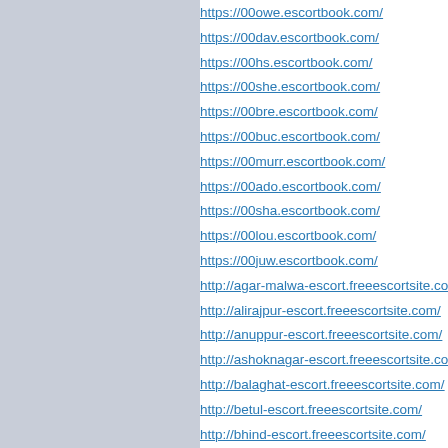https://00owe.escortbook.com/
https://00dav.escortbook.com/
https://00hs.escortbook.com/
https://00she.escortbook.com/
https://00bre.escortbook.com/
https://00buc.escortbook.com/
https://00murr.escortbook.com/
https://00ado.escortbook.com/
https://00sha.escortbook.com/
https://00lou.escortbook.com/
https://00juw.escortbook.com/
http://agar-malwa-escort.freeescortsite.com/
http://alirajpur-escort.freeescortsite.com/
http://anuppur-escort.freeescortsite.com/
http://ashoknagar-escort.freeescortsite.com/
http://balaghat-escort.freeescortsite.com/
http://betul-escort.freeescortsite.com/
http://bhind-escort.freeescortsite.com/
http://bhopal-escort.freeescortsite.com/
http://burhanpur-escort.freeescortsite.com/
http://chhatarpur-escort.freeescortsite.com/
http://chhindwara-escort.freeescortsite.com/
http://damoh-escort.freeescortsite.com/
http://datia-escort.freeescortsite.com/
http://dewas-escort.freeescortsite.com/
http://dhar-escort.freeescortsite.com/
http://dindori-escort.freeescortsite.com/